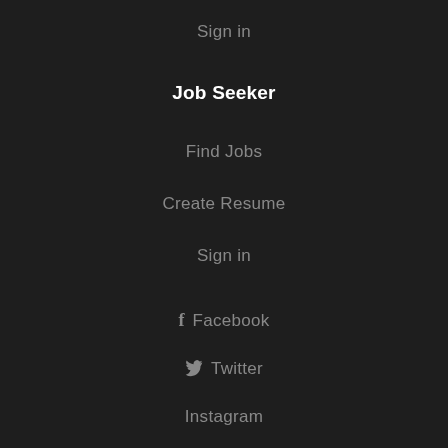Sign in
Job Seeker
Find Jobs
Create Resume
Sign in
Facebook
Twitter
Instagram
Pinterest
Youtube